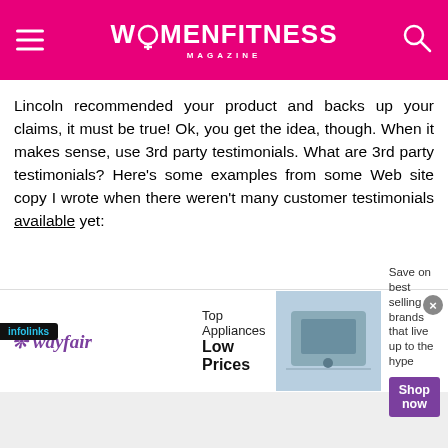[Figure (logo): Women Fitness Magazine logo on pink/magenta header bar with hamburger menu on left and search icon on right]
Lincoln recommended your product and backs up your claims, it must be true! Ok, you get the idea, though. When it makes sense, use 3rd party testimonials. What are 3rd party testimonials? Here's some examples from some Web site copy I wrote when there weren't many customer testimonials available yet:
“Spyware, without question, is on an exponential rise over the last six months.” -Alfred Huger, Senior Director of Engineering, Symantec Security Response (maker of Norton security software)
[Figure (infographic): Wayfair advertisement banner: Top Appliances Low Prices, Save on best selling brands that live up to the hype, Shop now button, with infolinks badge]